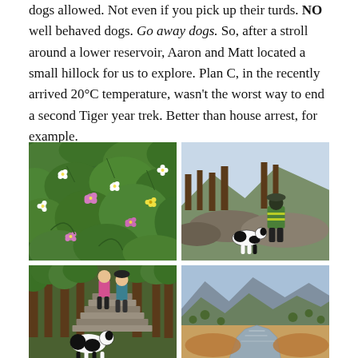dogs allowed. Not even if you pick up their turds. NO well behaved dogs. Go away dogs. So, after a stroll around a lower reservoir, Aaron and Matt located a small hillock for us to explore. Plan C, in the recently arrived 20°C temperature, wasn't the worst way to end a second Tiger year trek. Better than house arrest, for example.
[Figure (photo): Close-up photo of flowering plants with green leaves, white and pink flowers]
[Figure (photo): Person in hiking gear sitting on rocks with a black and white dog, trees and mountains in background]
[Figure (photo): Two hikers walking up stone steps with a black and white dog at the bottom of the stairs in a wooded area]
[Figure (photo): Wide mountain landscape with a dry river bed or low reservoir and mountains in the background under blue sky]